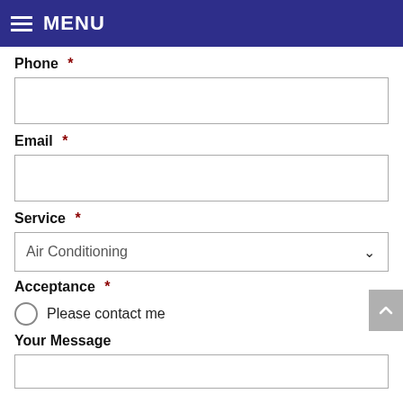MENU
Phone *
Email *
Service *
Air Conditioning
Acceptance *
Please contact me
Your Message